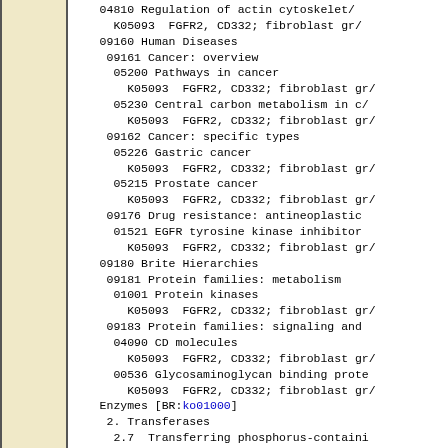04810 Regulation of actin cytoskeleton
  K05093  FGFR2, CD332; fibroblast growth factor receptor 2
09160 Human Diseases
 09161 Cancer: overview
  05200 Pathways in cancer
    K05093  FGFR2, CD332; fibroblast growth factor receptor 2
  05230 Central carbon metabolism in cancer
    K05093  FGFR2, CD332; fibroblast growth factor receptor 2
 09162 Cancer: specific types
  05226 Gastric cancer
    K05093  FGFR2, CD332; fibroblast growth factor receptor 2
  05215 Prostate cancer
    K05093  FGFR2, CD332; fibroblast growth factor receptor 2
 09176 Drug resistance: antineoplastic
  01521 EGFR tyrosine kinase inhibitor resistance
    K05093  FGFR2, CD332; fibroblast growth factor receptor 2
09180 Brite Hierarchies
 09181 Protein families: metabolism
  01001 Protein kinases
    K05093  FGFR2, CD332; fibroblast growth factor receptor 2
 09183 Protein families: signaling and cellular processes
  04090 CD molecules
    K05093  FGFR2, CD332; fibroblast growth factor receptor 2
  00536 Glycosaminoglycan binding proteins
    K05093  FGFR2, CD332; fibroblast growth factor receptor 2
Enzymes [BR:ko01000]
 2. Transferases
  2.7  Transferring phosphorus-containing groups